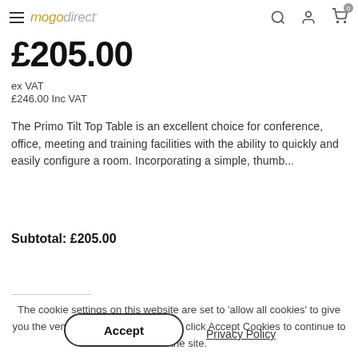mogodirect
£205.00
ex VAT
£246.00 Inc VAT
The Primo Tilt Top Table is an excellent choice for conference, office, meeting and training facilities with the ability to quickly and easily configure a room. Incorporating a simple, thumb...
Subtotal:  £205.00
The cookie settings on this website are set to 'allow all cookies' to give you the very best experience. Please click Accept Cookies to continue to use the site.
Accept
Privacy Policy